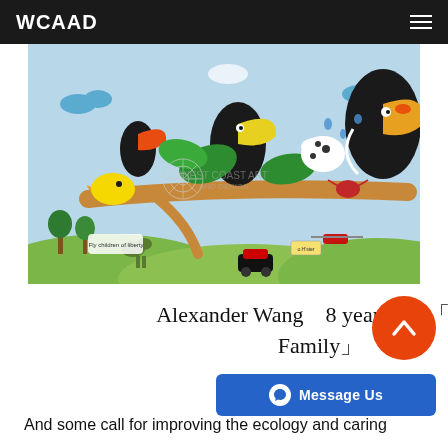WCAAD
[Figure (illustration): Children's colorful drawing featuring toucans and other birds perched on a branch, with various animals, trees, hills, cars, and playful scenes in a vibrant landscape. Watermark reads 'WEST COAST ART AND DESIGN'.]
Alexander Wang    8 years old,「The Family」
And some call for improving the ecology and caring